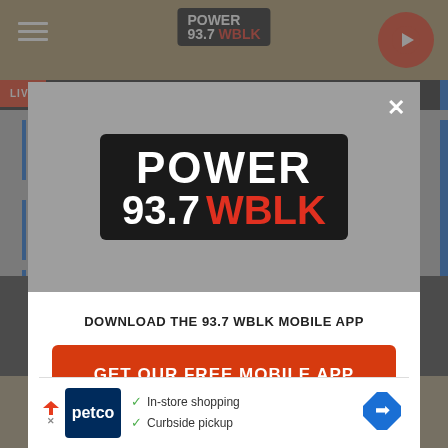[Figure (screenshot): Website background showing Power 93.7 WBLK radio station website with navigation bar, hamburger menu, and play button]
[Figure (logo): Power 93.7 WBLK logo inside modal popup - white and red text on black rounded rectangle background]
DOWNLOAD THE 93.7 WBLK MOBILE APP
GET OUR FREE MOBILE APP
Also listen on:  amazon alexa
[Figure (screenshot): Petco advertisement banner at bottom with checkmarks for In-store shopping and Curbside pickup]